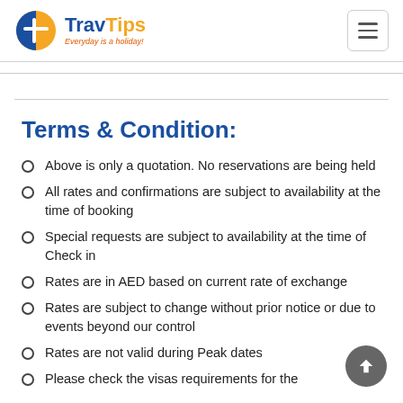TravTips — Everyday is a holiday!
Terms & Condition:
Above is only a quotation. No reservations are being held
All rates and confirmations are subject to availability at the time of booking
Special requests are subject to availability at the time of Check in
Rates are in AED based on current rate of exchange
Rates are subject to change without prior notice or due to events beyond our control
Rates are not valid during Peak dates
Please check the visas requirements for the